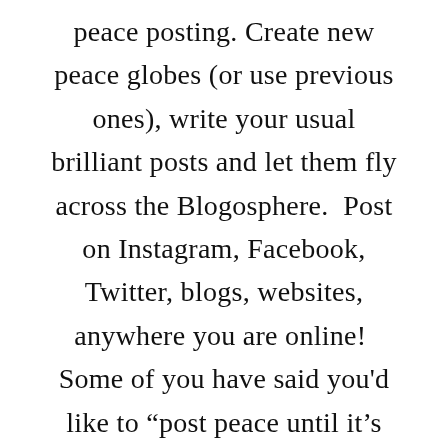peace posting. Create new peace globes (or use previous ones), write your usual brilliant posts and let them fly across the Blogosphere.  Post on Instagram, Facebook, Twitter, blogs, websites, anywhere you are online!  Some of you have said you'd like to “post peace until it’s over!” That’s perfectly